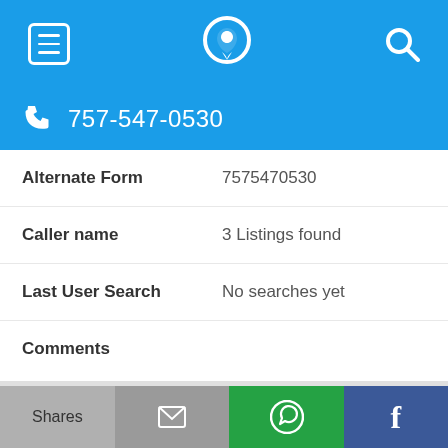Navigation bar with hamburger menu, phone/location icon, and search icon
757-547-0530
Alternate Form: 7575470530
Caller name: 3 Listings found
Last User Search: No searches yet
Comments
757-547-0588
Alternate Form: 7575470588
Shares  [email icon]  [WhatsApp icon]  [Facebook icon]